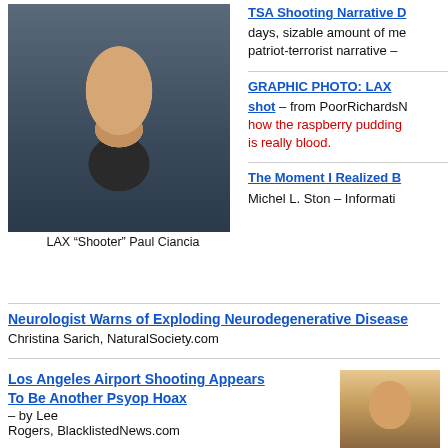[Figure (photo): Photo of LAX Shooter Paul Ciancia, a young man in a dark jacket]
LAX "Shooter" Paul Ciancia
TSA Shooting Narrative D... days, sizable amount of me... patriot-terrorist narrative –
GRAPHIC PHOTO: LAX... shot – from PoorRichardsN... how the raspberry pudding is really blood.
The Moment I Realized B... Michel L. Ston – Informati...
Neurologist Warns of Exploding Neurodegenerative Disease...
Christina Sarich, NaturalSociety.com
Los Angeles Airport Shooting Appears To Be Another Psyop Hoax – by Lee Rogers, BlacklistedNews.com
[Figure (photo): Partial photo of a person's face on right side]